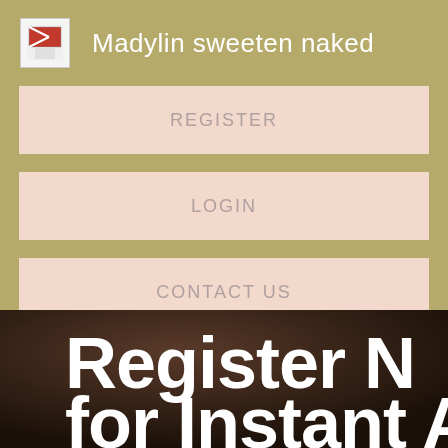Madylin sweeten naked
REGISTER
LOGIN
CONTACT US
[Figure (screenshot): Dark background image with large white bold text reading 'Register No' on first line and 'for Instant A' on second line, partially cropped]
Register No for Instant A